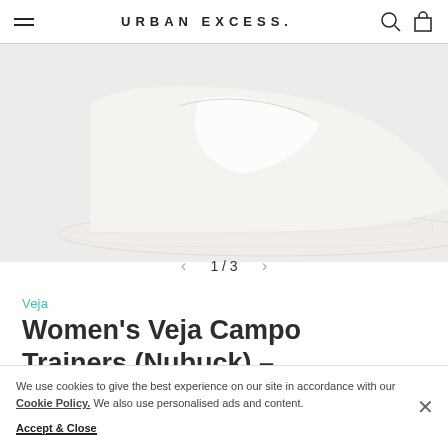URBAN EXCESS.
[Figure (photo): Partial view of a white/cream Veja Campo sneaker (Nubuck) showing the sole and upper against a light grey background.]
1 / 3
Veja
Women's Veja Campo Trainers (Nubuck) –
We use cookies to give the best experience on our site in accordance with our Cookie Policy. We also use personalised ads and content.
Accept & Close